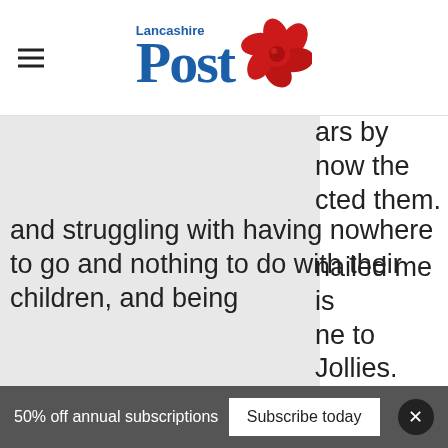Lancashire Post
[Figure (photo): Photo placeholder on left side of article]
ears by now the cted them. nailed me is ne to Jollies. ng to happen stressed out and struggling with having nowhere to go and nothing to do with their children, and being
50% off annual subscriptions   Subscribe today